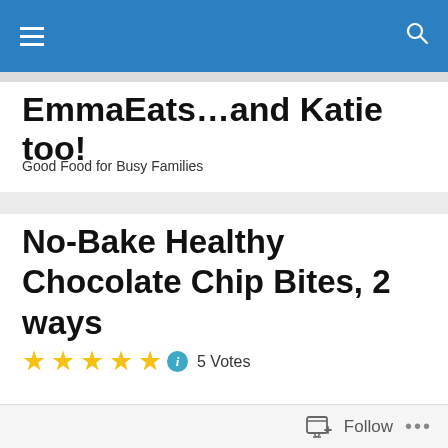EmmaEats…and Katie too! [navigation bar with hamburger menu and search icon]
EmmaEats…and Katie too!
Good Food for Busy Families
No-Bake Healthy Chocolate Chip Bites, 2 ways
★★★★★ ⓘ 5 Votes
So much to do, so little time.
[Figure (photo): Partial image placeholder visible at bottom of page]
Follow  •••